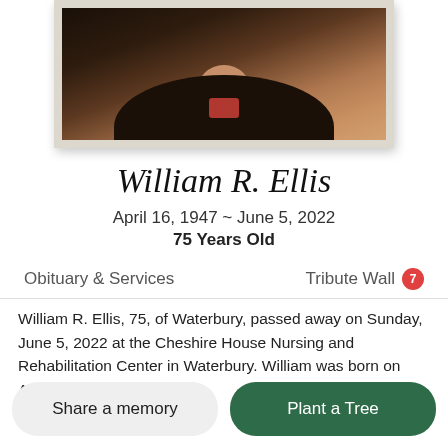[Figure (photo): Portrait photo of William R. Ellis, an elderly man wearing a dark leather jacket, shown from shoulders up with a white/cream frame border]
William R. Ellis
April 16, 1947 ~ June 5, 2022
75 Years Old
Obituary & Services
Tribute Wall 7
William R. Ellis, 75, of Waterbury, passed away on Sunday, June 5, 2022 at the Cheshire House Nursing and Rehabilitation Center in Waterbury. William was born on April
Share a memory
Plant a Tree